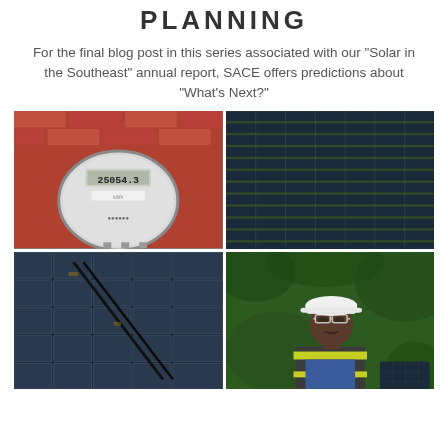PLANNING
For the final blog post in this series associated with our "Solar in the Southeast" annual report, SACE offers predictions about "What's Next?"
[Figure (photo): 2x2 grid of photos: top-left is an electric utility meter on a brick wall; top-right is an aerial view of solar panel arrays; bottom-left is a close-up of solar panels; bottom-right is a man in a hard hat and safety vest in front of green foliage.]